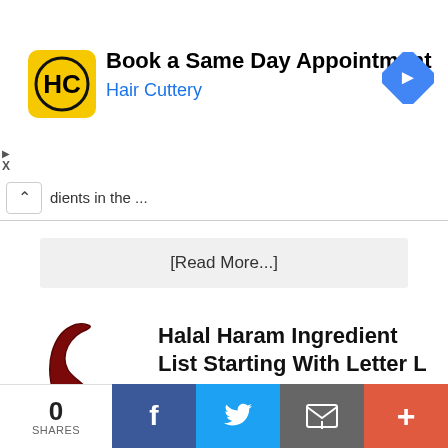[Figure (screenshot): Advertisement banner for Hair Cuttery: Book a Same Day Appointment, with logo and navigation arrow icon]
dients in the ...
[Read More...]
[Figure (illustration): Decorative cursive letter L in dark red]
Halal Haram Ingredient List Starting With Letter L
A comprehensive list of Halal
0 SHARES
[Figure (infographic): Social sharing bar with Facebook, Twitter, Email, and Plus buttons]